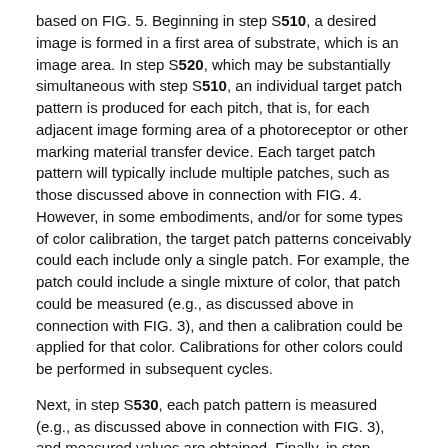based on FIG. 5. Beginning in step S510, a desired image is formed in a first area of substrate, which is an image area. In step S520, which may be substantially simultaneous with step S510, an individual target patch pattern is produced for each pitch, that is, for each adjacent image forming area of a photoreceptor or other marking material transfer device. Each target patch pattern will typically include multiple patches, such as those discussed above in connection with FIG. 4. However, in some embodiments, and/or for some types of color calibration, the target patch patterns conceivably could each include only a single patch. For example, the patch could include a single mixture of color, that patch could be measured (e.g., as discussed above in connection with FIG. 3), and then a calibration could be applied for that color. Calibrations for other colors could be performed in subsequent cycles.
Next, in step S530, each patch pattern is measured (e.g., as discussed above in connection with FIG. 3), and measured values are obtained. Finally, in step S540, a color calibration is performed for each pitch based on the measured values, for use in a subsequent marking operation.